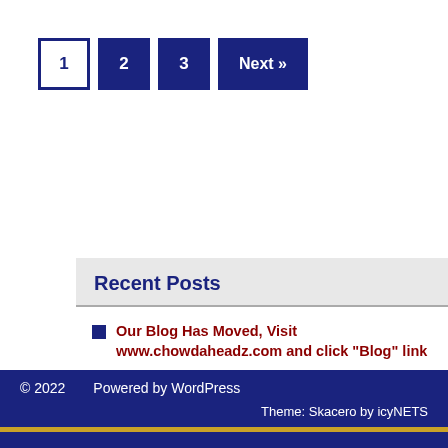1 2 3 Next » (pagination)
Recent Posts
Our Blog Has Moved, Visit www.chowdaheadz.com and click “Blog” link
5 Oceanfront New England Cities For A Picturesque Winter Getaway
Boston Common Frog Pond Named Best Skating Rink In America
4 New England Ski Spots Perfect For Kids & Newbies
© 2022   Powered by WordPress   Theme: Skacero by icyNETS